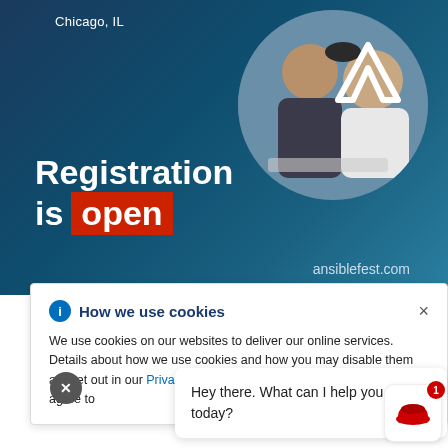[Figure (screenshot): AnsibleFest event registration banner with dark blue gradient background, circular photo of two people at a laptop, Ansible 'A' logo, text 'Registration is open' with red badge, and ansiblefest.com URL]
Chicago, IL
Registration is open
ansiblefest.com
How we use cookies
We use cookies on our websites to deliver our online services. Details about how we use cookies and how you may disable them are set out in our Privacy Statement. By using this website you agree to
Hey there. What can I help you with today?